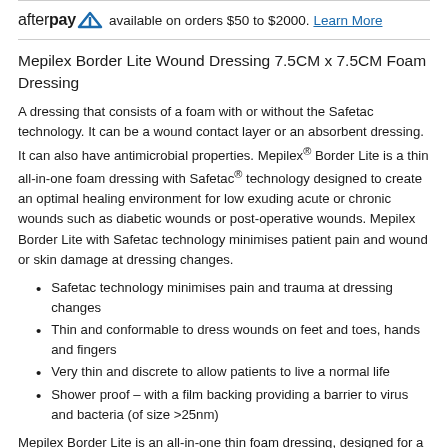afterpay available on orders $50 to $2000. Learn More
Mepilex Border Lite Wound Dressing 7.5CM x 7.5CM Foam Dressing
A dressing that consists of a foam with or without the Safetac technology. It can be a wound contact layer or an absorbent dressing. It can also have antimicrobial properties. Mepilex® Border Lite is a thin all-in-one foam dressing with Safetac® technology designed to create an optimal healing environment for low exuding acute or chronic wounds such as diabetic wounds or post-operative wounds. Mepilex Border Lite with Safetac technology minimises patient pain and wound or skin damage at dressing changes.
Safetac technology minimises pain and trauma at dressing changes
Thin and conformable to dress wounds on feet and toes, hands and fingers
Very thin and discrete to allow patients to live a normal life
Shower proof – with a film backing providing a barrier to virus and bacteria (of size >25nm)
Mepilex Border Lite is an all-in-one thin foam dressing, designed for a wide range of low exuding wounds: chronic